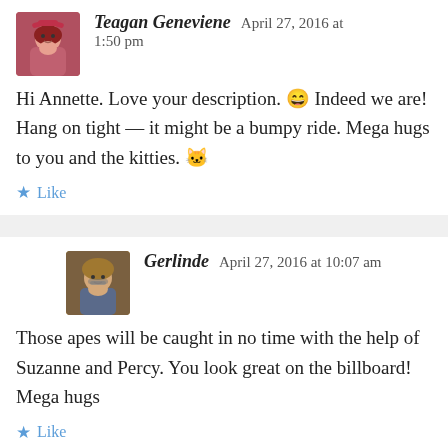Teagan Geneviene   April 27, 2016 at 1:50 pm
Hi Annette. Love your description. 😀 Indeed we are! Hang on tight — it might be a bumpy ride. Mega hugs to you and the kitties. 🐱
Like
Gerlinde   April 27, 2016 at 10:07 am
Those apes will be caught in no time with the help of Suzanne and Percy. You look great on the billboard! Mega hugs
Like